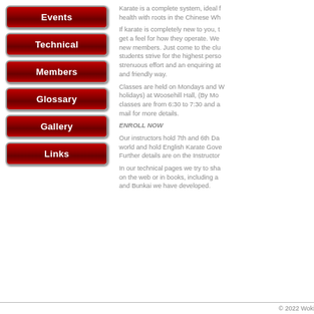Events
Technical
Members
Glossary
Gallery
Links
Karate is a complete system, ideal for health with roots in the Chinese Wh...
If karate is completely new to you, t... get a feel for how they operate. We... new members. Just come to the clu... students strive for the highest perso... strenuous effort and an enquiring at... and friendly way.
Classes are held on Mondays and W... holidays) at Woosehill Hall, (By Mo... classes are from 6:30 to 7:30 and a... mail for more details.
ENROLL NOW
Our instructors hold 7th and 6th Da... world and hold English Karate Gove... Further details are on the Instructor...
In our technical pages we try to sha... on the web or in books, including a... and Bunkai we have developed.
© 2022 Wokin...